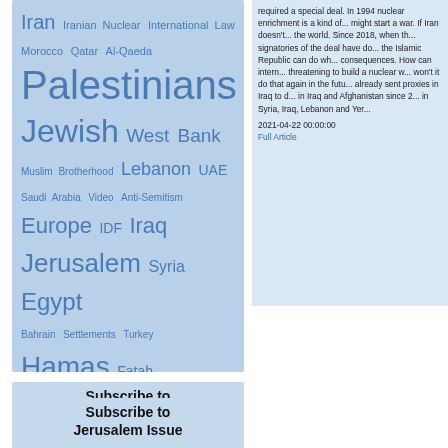[Figure (infographic): Tag cloud on light blue background with topics: Iran, Iranian Nuclear, International Law, Morocco, Qatar, Al-Qaeda, Palestinians, Jewish, West Bank, Muslim Brotherhood, Lebanon, UAE, Saudi Arabia, Video, Anti-Semitism, Europe, IDF, Iraq, Jerusalem, Syria, Egypt, Bahrain, Settlements, Turkey, Hamas, Fatah]
required a special deal. In 1994 nuclear enrichment is a kind of... might start a war. If Iran doesn't... the world. Since 2018, when th... signatories of the deal have do... the Islamic Republic can do wh... consequences. How can intern... threatening to build a nuclear w... won't it do that again in the futu... already sent proxies in Iraq to d... in Iraq and Afghanistan since 2... in Syria, Iraq, Lebanon and Yer... 2021-04-22 00:00:00 Full Article
Subscribe to Daily Alert
Subscribe to Jerusalem Issue